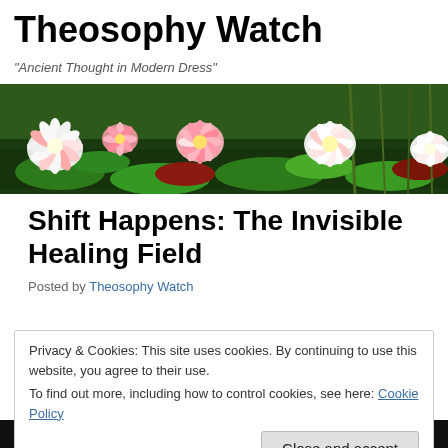Theosophy Watch
"Ancient Thought in Modern Dress"
[Figure (photo): Banner photo of pink and white water lily flowers floating on a pond with green lily pads and reeds in the background.]
Shift Happens: The Invisible Healing Field
Posted by Theosophy Watch
Privacy & Cookies: This site uses cookies. By continuing to use this website, you agree to their use.
To find out more, including how to control cookies, see here: Cookie Policy

Close and accept
[Figure (photo): Partial bottom strip showing a dark image, partially visible at the very bottom of the page.]